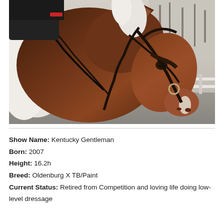[Figure (photo): A dark bay and white paint horse wearing a black bridle, photographed close-up from the side showing its head and neck. A rider in black clothing is partially visible at the top left holding reins. The background shows a fenced arena with bare trees.]
Show Name: Kentucky Gentleman
Born: 2007
Height: 16.2h
Breed: Oldenburg X TB/Paint
Current Status: Retired from Competition and loving life doing low-level dressage